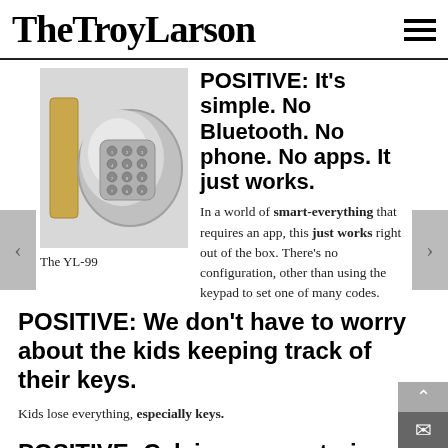TheTroyLarson
[Figure (photo): Photo of the YL-99 keypad door lock knob, brushed stainless steel with numeric keypad buttons]
The YL-99
POSITIVE: It's simple. No Bluetooth. No phone. No apps. It just works.
In a world of smart-everything that requires an app, this just works right out of the box. There's no configuration, other than using the keypad to set one of many codes.
POSITIVE: We don't have to worry about the kids keeping track of their keys.
Kids lose everything, especially keys.
POSITIVE: Calvin gave up trying almost